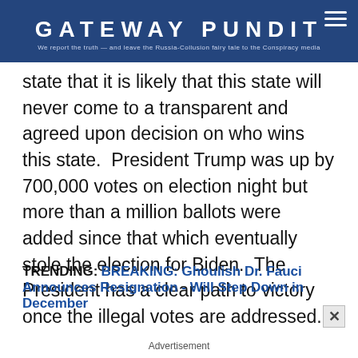GATEWAY PUNDIT — We report the truth — and leave the Russia-Collusion fairy tale to the Conspiracy media
state that it is likely that this state will never come to a transparent and agreed upon decision on who wins this state.  President Trump was up by 700,000 votes on election night but more than a million ballots were added since that which eventually stole the election for Biden.  The President has a clear path to victory once the illegal votes are addressed.
TRENDING: BREAKING: Ghoulish Dr. Fauci Announces Resignation - Will Step Down in December
Advertisement